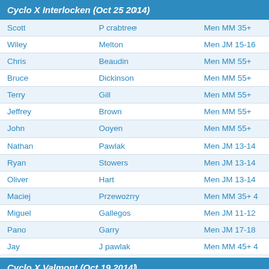Cyclo X Interlocken (Oct 25 2014)
| Scott | P crabtree | Men MM 35+ |
| Wiley | Melton | Men JM 15-16 |
| Chris | Beaudin | Men MM 55+ |
| Bruce | Dickinson | Men MM 55+ |
| Terry | Gill | Men MM 55+ |
| Jeffrey | Brown | Men MM 55+ |
| John | Ooyen | Men MM 55+ |
| Nathan | Pawlak | Men JM 13-14 |
| Ryan | Stowers | Men JM 13-14 |
| Oliver | Hart | Men JM 13-14 |
| Maciej | Przewozny | Men MM 35+ 4 |
| Miguel | Gallegos | Men JM 11-12 |
| Pano | Garry | Men JM 17-18 |
| Jay | J pawlak | Men MM 45+ 4 |
Cyclo X Valmont (Oct 19 2014)
| Wiley | Melton | Men SM 4 |